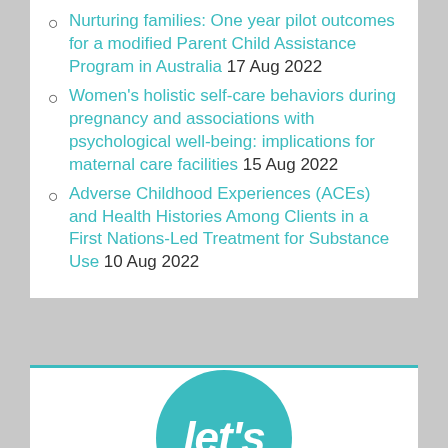Nurturing families: One year pilot outcomes for a modified Parent Child Assistance Program in Australia 17 Aug 2022
Women's holistic self-care behaviors during pregnancy and associations with psychological well-being: implications for maternal care facilities 15 Aug 2022
Adverse Childhood Experiences (ACEs) and Health Histories Among Clients in a First Nations-Led Treatment for Substance Use 10 Aug 2022
[Figure (logo): Circular teal logo with white italic text reading 'let's']